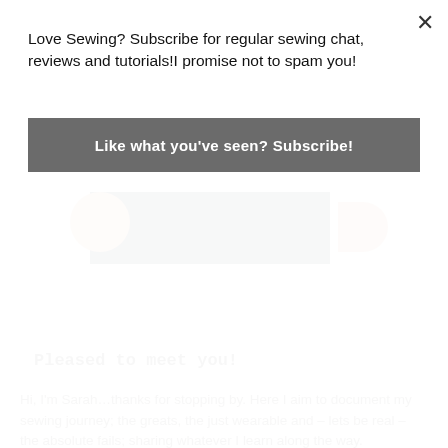[Figure (photo): Partial view of a person wearing a dark navy top, cropped photo visible behind popup overlay]
Pleased to meet you!
Hi, I'm Sarah…thanks for stopping by. Here I aim to document my sewing journey; the greats, the just wearable and – lets be real – the absolute fails; sharing whatever I learn along the way.
Love Sewing? Subscribe for regular sewing chat, reviews and tutorials!I promise not to spam you!
Like what you've seen? Subscribe!